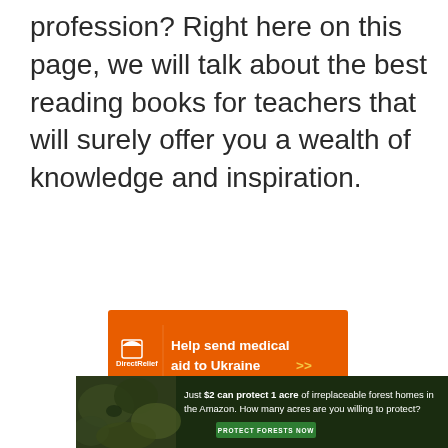profession? Right here on this page, we will talk about the best reading books for teachers that will surely offer you a wealth of knowledge and inspiration.
[Figure (infographic): Orange Direct Relief advertisement banner: 'Help send medical aid to Ukraine >>' with Direct Relief logo on the left.]
[Figure (infographic): Dark green Amazon forest advertisement: 'Just $2 can protect 1 acre of irreplaceable forest homes in the Amazon. How many acres are you willing to protect?' with a 'PROTECT FORESTS NOW' green button and forest photo on the left.]